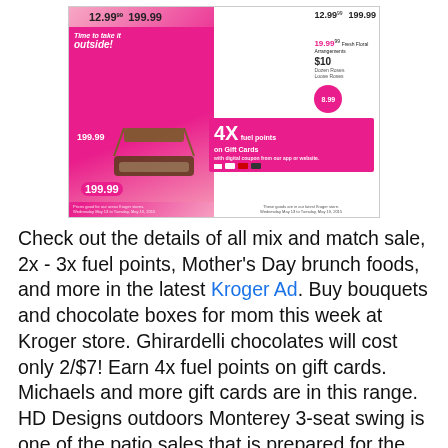[Figure (photo): Kroger weekly ad flyer showing outdoor patio swing, flowers/bouquets, Ghirardelli chocolates, and 4X fuel points on gift cards promotion with pink color scheme]
Check out the details of all mix and match sale, 2x - 3x fuel points, Mother's Day brunch foods, and more in the latest Kroger Ad. Buy bouquets and chocolate boxes for mom this week at Kroger store. Ghirardelli chocolates will cost only 2/$7! Earn 4x fuel points on gift cards. Michaels and more gift cards are in this range. HD Designs outdoors Monterey 3-seat swing is one of the patio sales that is prepared for the Mother's Day. Kroger sells these gifts worldwide. One of the special and popular categories of all weekly ads